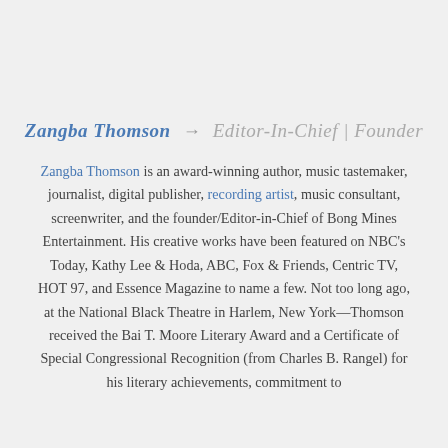Zangba Thomson → Editor-In-Chief | Founder
Zangba Thomson is an award-winning author, music tastemaker, journalist, digital publisher, recording artist, music consultant, screenwriter, and the founder/Editor-in-Chief of Bong Mines Entertainment. His creative works have been featured on NBC's Today, Kathy Lee & Hoda, ABC, Fox & Friends, Centric TV, HOT 97, and Essence Magazine to name a few. Not too long ago, at the National Black Theatre in Harlem, New York—Thomson received the Bai T. Moore Literary Award and a Certificate of Special Congressional Recognition (from Charles B. Rangel) for his literary achievements, commitment to